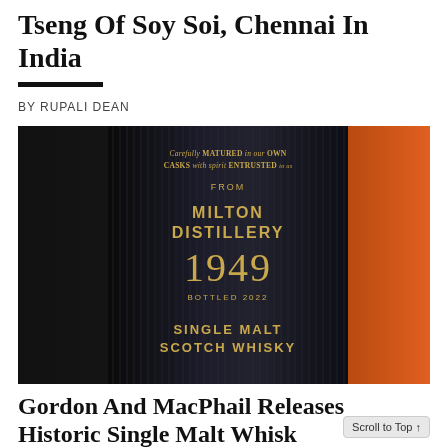Tseng Of Soy Soi, Chennai In India
BY RUPALI DEAN
[Figure (photo): Close-up of a dark bottle label reading: Carefully MATURED in our OWN CASKS with spirit ENTRUSTED to us / FROM / MILTON DISTILLERY / 1949 / BOTTLED 2022 / SINGLE MALT SCOTCH WHISKY. Gold lettering on dark ribbed bottle, with orange background glow.]
Gordon And MacPhail Releases Historic Single Malt Whisk... Back To The 1949...